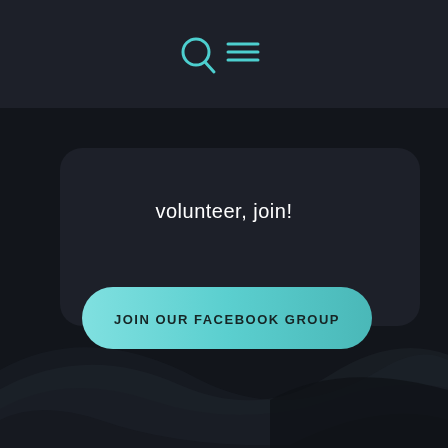[Figure (screenshot): Dark-themed mobile website screenshot with navigation icons (search and menu), a rounded card containing text 'volunteer, join!' and a teal 'JOIN OUR FACEBOOK GROUP' button, with decorative wave shapes at the bottom.]
volunteer, join!
JOIN OUR FACEBOOK GROUP